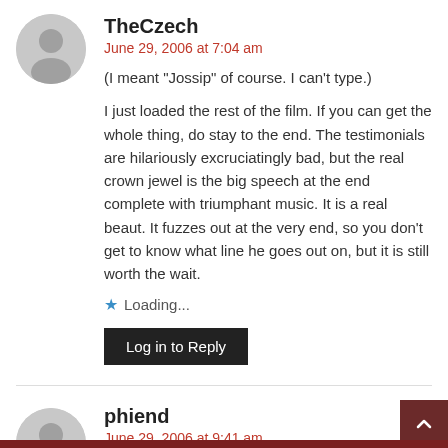TheCzech
June 29, 2006 at 7:04 am
(I meant "Jossip" of course. I can't type.)
I just loaded the rest of the film. If you can get the whole thing, do stay to the end. The testimonials are hilariously excruciatingly bad, but the real crown jewel is the big speech at the end complete with triumphant music. It is a real beaut. It fuzzes out at the very end, so you don't get to know what line he goes out on, but it is still worth the wait.
Loading...
Log in to Reply
phiend
June 29, 2006 at 9:41 am